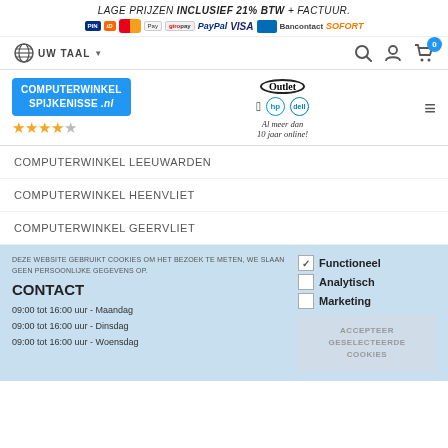LAGE PRIJZEN INCLUSIEF 21% BTW + FACTUUR.
[Figure (logo): Payment method icons: pin, iDEAL, Mastercard, Apple Pay, Giropay, PayPal, VISA, Maestro, Bancontact, SOFORT]
[Figure (logo): Language selector globe icon with UW TAAL dropdown, search icon, account icon, cart icon with badge 0]
[Figure (logo): Computerwinkel Spijkenisse .nl logo with Outlet badge, Apple, HP, Dell brand logos, 10+ years online text, star rating 4/5]
COMPUTERWINKEL LEEUWARDEN
COMPUTERWINKEL HEENVLIET
COMPUTERWINKEL GEERVLIET
DEZE WEBSITE GEBRUIKT COOKIES OM HET BEZOEK TE METEN, WE SLAAN GEEN PERSOONLIJKE GEGEVENS OP.
CONTACT
09:00 tot 16:00 uur - Maandag
09:00 tot 16:00 uur - Dinsdag
09:00 tot 16:00 uur - Woensdag
Functioneel
Analytisch
Marketing
ACCEPTEER GESELECTEERDE COOKIES